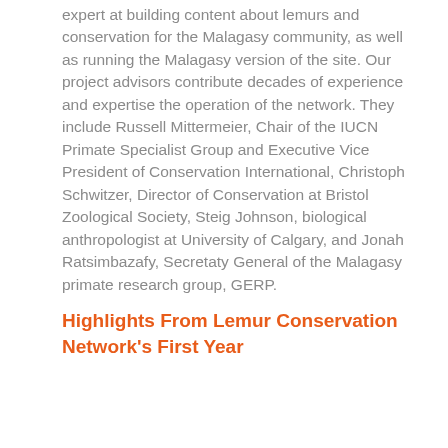expert at building content about lemurs and conservation for the Malagasy community, as well as running the Malagasy version of the site. Our project advisors contribute decades of experience and expertise the operation of the network. They include Russell Mittermeier, Chair of the IUCN Primate Specialist Group and Executive Vice President of Conservation International, Christoph Schwitzer, Director of Conservation at Bristol Zoological Society, Steig Johnson, biological anthropologist at University of Calgary, and Jonah Ratsimbazafy, Secretaty General of the Malagasy primate research group, GERP.
Highlights From Lemur Conservation Network's First Year